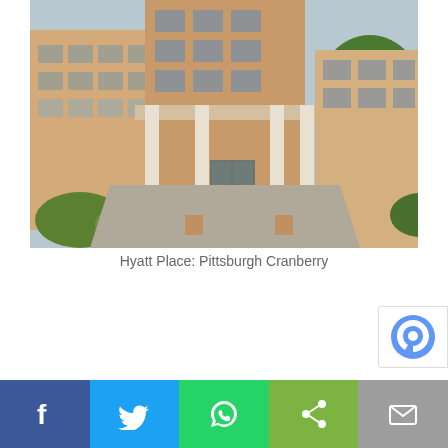[Figure (photo): Exterior photo of Hyatt Place Pittsburgh Cranberry hotel building with covered entrance portico, beige/tan facade, columns, landscaping with shrubs and trees.]
Hyatt Place: Pittsburgh Cranberry
[Figure (infographic): Social media share bar with five buttons: Facebook (blue, f), Twitter (light blue, bird icon), WhatsApp (green, phone icon), Share (light green, share icon), Email (grey, envelope icon)]